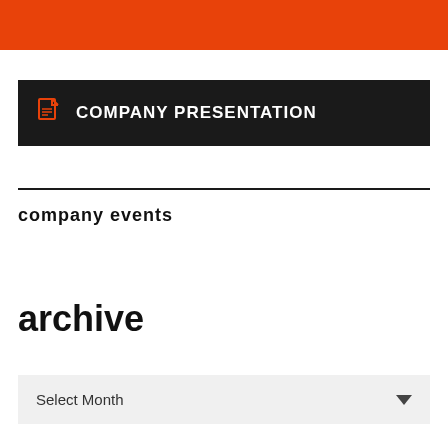[Figure (other): Orange header banner at the top of the page]
COMPANY PRESENTATION
company events
archive
Select Month